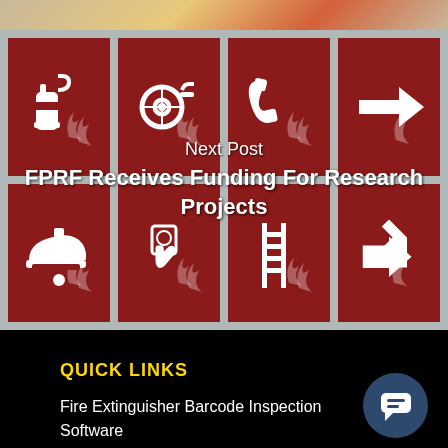[Figure (photo): Top strip showing fire-related background photo with flames and fire equipment]
[Figure (infographic): Grid of 8 fire safety symbol tiles (dark red background, white icons): fire extinguisher, fire hose reel, telephone, right arrow, fire helmet, fire alarm button, fire escape ladder, diagonal down-right arrow. Overlaid with 'Next Post' label and link title.]
Next Post
FPRF Receives Funding For Research Projects
QUICK LINKS
Fire Extinguisher Barcode Inspection Software